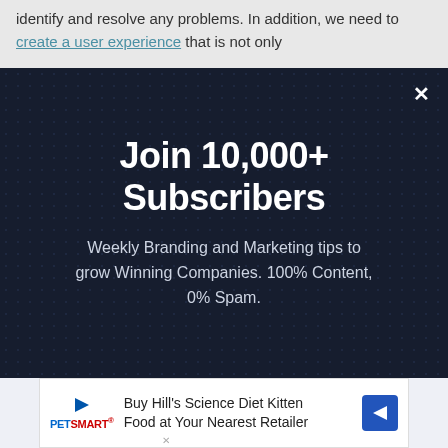identify and resolve any problems. In addition, we need to create a user experience that is not only
[Figure (screenshot): Dark navy popup modal with cursor arrow icons scattered as background pattern. Contains large white bold text 'Join 10,000+ Subscribers' and subtitle 'Weekly Branding and Marketing tips to grow Winning Companies. 100% Content, 0% Spam.' with a white X close button in top-right corner.]
Join 10,000+ Subscribers
Weekly Branding and Marketing tips to grow Winning Companies. 100% Content, 0% Spam.
Email
Buy Hill's Science Diet Kitten Food at Your Nearest Retailer